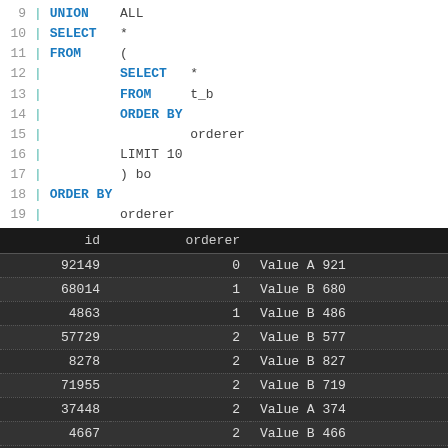[Figure (screenshot): SQL code snippet showing lines 9-19 with UNION ALL, SELECT, FROM subquery with ORDER BY and LIMIT, outer ORDER BY orderer]
| id | orderer |  |
| --- | --- | --- |
| 92149 | 0 | Value A 921 |
| 68014 | 1 | Value B 680 |
| 4863 | 1 | Value B 486 |
| 57729 | 2 | Value B 577 |
| 8278 | 2 | Value B 827 |
| 71955 | 2 | Value B 719 |
| 37448 | 2 | Value A 374 |
| 4667 | 2 | Value B 466 |
| 99213 | 4 | Value B 992 |
| 36856 | 4 | Value B 368 |
| 49557 | 4 | Value A 495 |
| 57936 | 5 | Value B 57… |